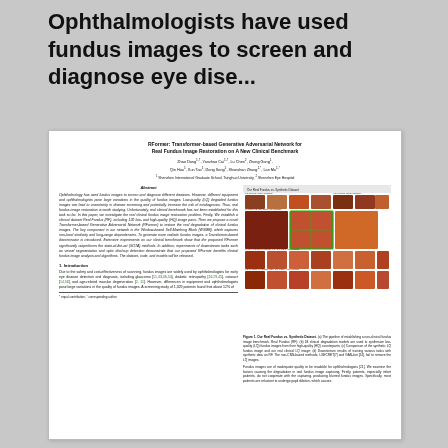Ophthalmologists have used fundus images to screen and diagnose eye dise...
[Figure (screenshot): Thumbnail preview of a scientific paper titled 'RFormer: Transformer-based Generative Adversarial Network for Real Fundus Image Restoration on A New Clinical Benchmark', showing authors, abstract, introduction, and a figure with fundus images arranged in a grid.]